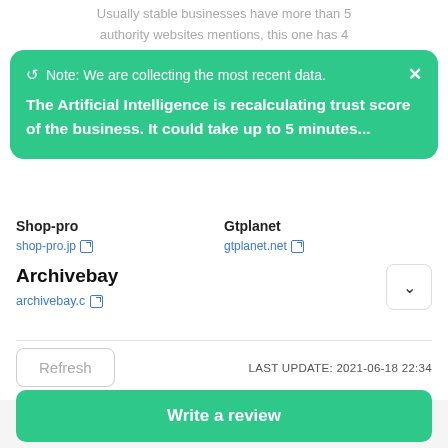Usually stable businesses have more than 5 authority websites mentions, this one has 4
Note: We are collecting the most recent data. The Artificial Intelligence is recalculating trust score of the business. It could take up to 5 minutes...
Shop-pro
shop-pro.jp
Gtplanet
gtplanet.net
Archivebay
archivebay.c
Refresh
LAST UPDATE: 2021-06-18 22:34
Write a review